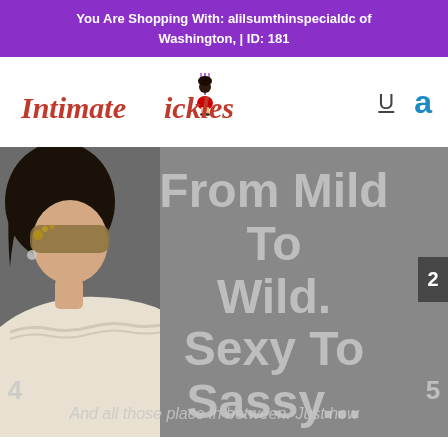You Are Shopping With: alilsumthinspecialdc of Washington, | ID: 181
[Figure (logo): Intimate Tickles cursive logo with cartoon devil woman figure]
U
a
[Figure (photo): Woman wearing masquerade mask in white off-shoulder top against grey background, with overlaid text: From Mild To Wild. Sexy To Sassy... And all those place in between. Just how]
From Mild To Wild. Sexy To Sassy...
And all those place in between. Just how